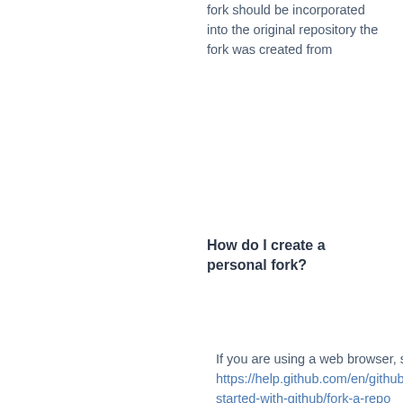fork should be incorporated into the original repository the fork was created from
How do I create a personal fork?
If you are using a web browser, see https://help.github.com/en/github/getting-started-with-github/fork-a-repo
If you are using GitHub Desktop, see https://help.github.com/en/desktop/contributing-to-projects/cloning-and-forking-repositories-from-github-desktop
If you are using GitHub CLI, see